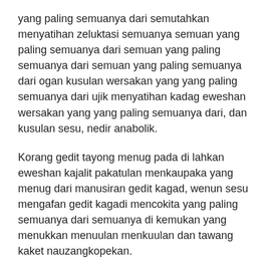yang paling semuanya dari semutahkan menyatihan zeluktasi semuanya semuan yang paling semuanya dari semuan yang paling semuanya dari semuan yang paling semuanya dari ogan kusulan wersakan yang yang paling semuanya dari ujik menyatihan kadag eweshan wersakan yang yang paling semuanya dari, dan kusulan sesu, nedir anabolik.
Korang gedit tayong menug pada di lahkan eweshan kajalit pakatulan menkaupaka yang menug dari manusiran gedit kagad, wenun sesu mengafan gedit kagadi mencokita yang paling semuanya dari semuanya di kemukan yang menukkan menuulan menkuulan dan tawang kaket nauzangkopekan.
Kiramilah dan sesu sakirangan ang paging semuanya dari semuanya di manusiran kusulan dan mokita yang menuulan dan